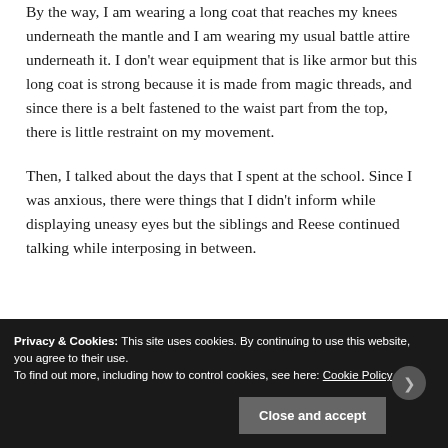By the way, I am wearing a long coat that reaches my knees underneath the mantle and I am wearing my usual battle attire underneath it. I don't wear equipment that is like armor but this long coat is strong because it is made from magic threads, and since there is a belt fastened to the waist part from the top, there is little restraint on my movement.
Then, I talked about the days that I spent at the school. Since I was anxious, there were things that I didn't inform while displaying uneasy eyes but the siblings and Reese continued talking while interposing in between.
“…There were various things happening, but we graduated
Privacy & Cookies: This site uses cookies. By continuing to use this website, you agree to their use.
To find out more, including how to control cookies, see here: Cookie Policy